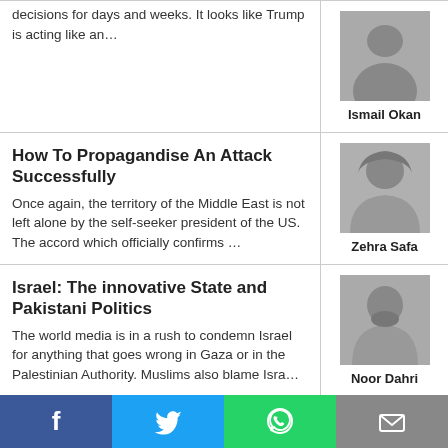decisions for days and weeks. It looks like Trump is acting like an…
Ismail Okan
How To Propagandise An Attack Successfully
Once again, the territory of the Middle East is not left alone by the self-seeker president of the US. The accord which officially confirms …
Zehra Safa
Israel: The innovative State and Pakistani Politics
The world media is in a rush to condemn Israel for anything that goes wrong in Gaza or in the Palestinian Authority. Muslims also blame Isra…
Noor Dahri
Torture fears for 500+ protesters detained by the Iranian regime, including women and children